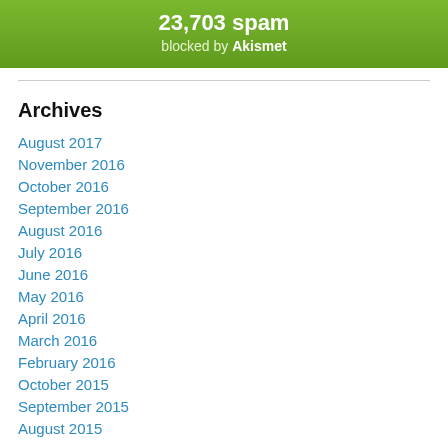[Figure (other): Akismet spam counter banner with green gradient background showing 23,703 spam blocked by Akismet]
Archives
August 2017
November 2016
October 2016
September 2016
August 2016
July 2016
June 2016
May 2016
April 2016
March 2016
February 2016
October 2015
September 2015
August 2015